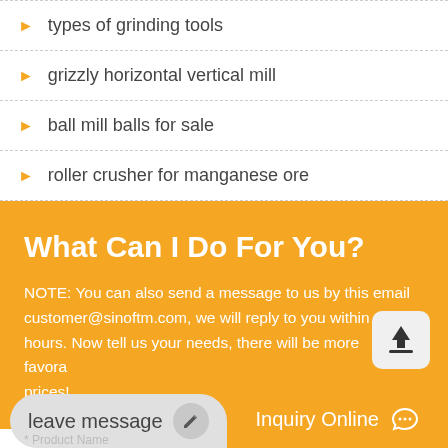types of grinding tools
grizzly horizontal vertical mill
ball mill balls for sale
roller crusher for manganese ore
What Can I Do For You?
NOTE: You can also send a message to us by this email customer@sinoftm.com, we will reply to you within 24 hours. Now tell us your needs, there will be more favorable prices!
leave message
Inquiry Online